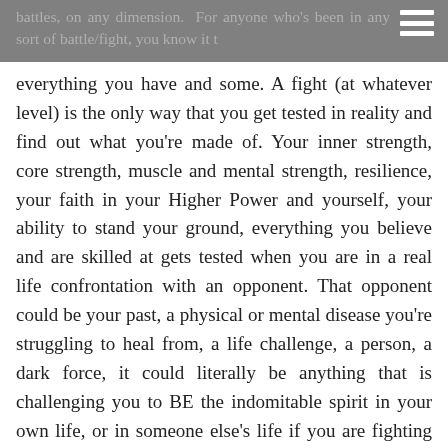battles, on any dimension.  For anyone who's been in any sort of battle/fight, you know it takes
everything you have and some. A fight (at whatever level) is the only way that you get tested in reality and find out what you're made of. Your inner strength, core strength, muscle and mental strength, resilience, your faith in your Higher Power and yourself, your ability to stand your ground, everything you believe and are skilled at gets tested when you are in a real life confrontation with an opponent. That opponent could be your past, a physical or mental disease you're struggling to heal from, a life challenge, a person, a dark force, it could literally be anything that is challenging you to BE the indomitable spirit in your own life, or in someone else's life if you are fighting on behalf of someone you love.